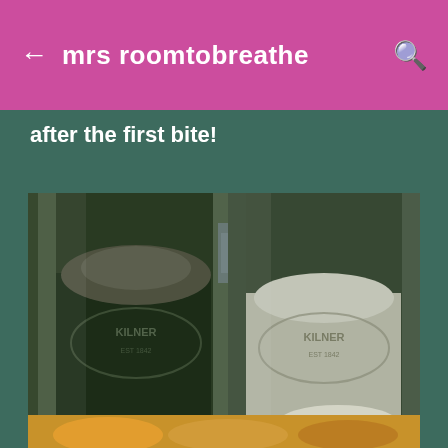mrs roomtobreathe
after the first bite!
[Figure (photo): Two Kilner glass jars containing dark and light powder/flour, photographed close-up on a kitchen surface]
[Figure (photo): Partial view of food items at the bottom of the page, cut off]